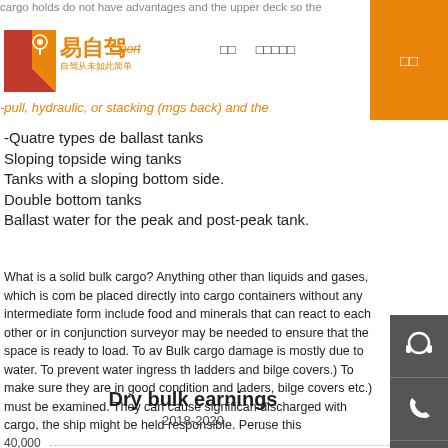[Figure (logo): 易自驾 logo with orange Y icon and Chinese text '自驾从未如此简单']
易自驾 | 自驾从未如此简单
cargo holds are generally designated as a ballast storage. This can be pull, hydraulic, or stacking (mgs back)
-Quatre types de ballast tanks
Sloping topside wing tanks
Tanks with a sloping bottom side.
Double bottom tanks
Ballast water for the peak and post-peak tank.
What is a solid bulk cargo? Anything other than liquids and gases, which is commercially be placed directly into cargo containers without any intermediate form include food and minerals that can react to each other or in conjunction surveyor may be needed to ensure that the space is ready to load. To av Bulk cargo damage is mostly due to water. To prevent water ingress th ladders and bilge covers.) To make sure they are in good condition and laders, bilge covers etc.) must be examined. They can cause significan discharged with cargo, the ship might be held responsible. Peruse this
Dry bulk earnings
2018-2020
40,000